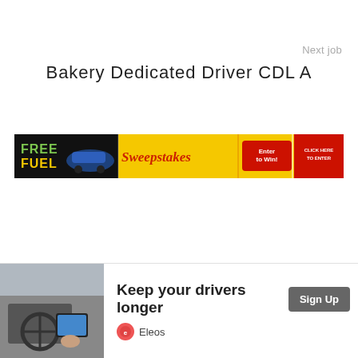Next job
Bakery Dedicated Driver CDL A
[Figure (screenshot): Banner advertisement for Free Fuel Sweepstakes with yellow background, showing a car, 'Sweepstakes', 'Enter to Win!', '$500 Fuel Card', and 'Click Here to Enter' button in red]
[Figure (screenshot): Bottom advertisement showing a driver using a tablet in a vehicle cab, with text 'Keep your drivers longer', a 'Sign Up' button, and the Eleos logo]